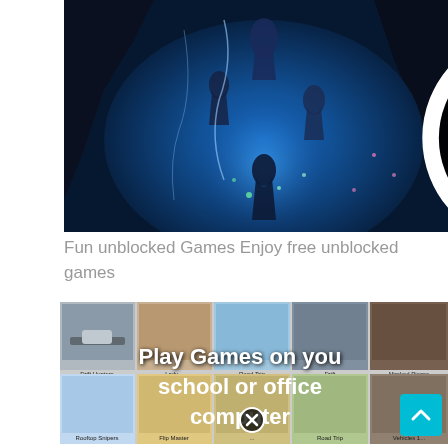[Figure (illustration): Fantasy/sci-fi game art showing armored figures floating in a glowing blue cave/underwater scene with electric effects and dramatic lighting. A close button (X in circle) appears at the top center of the image.]
Fun unblocked Games Enjoy free unblocked games
[Figure (screenshot): Grid of game thumbnails showing 2 rows of 5 games each: Drift Hunters, (Lady game), (unknown), Drift, Masked Pieces, Rooftop Snipers, Flip Master, (unknown), Road Trip, Vehicles 1. Overlaid with white bold text 'Play Games on you school or office computer'. A close button (X in circle) appears at the bottom center. A teal scroll-up arrow button is at the bottom right.]